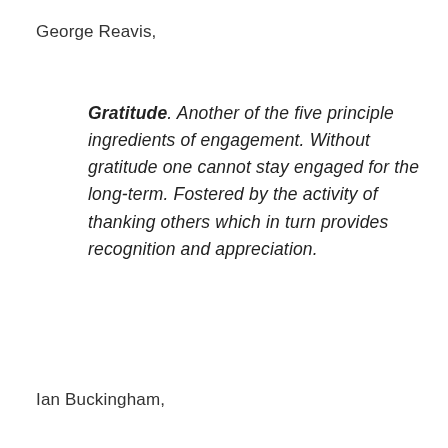George Reavis,
Gratitude.  Another of the five principle ingredients of engagement.  Without gratitude one cannot stay engaged for the long-term.  Fostered by the activity of thanking others which in turn provides recognition and appreciation.
Ian Buckingham,